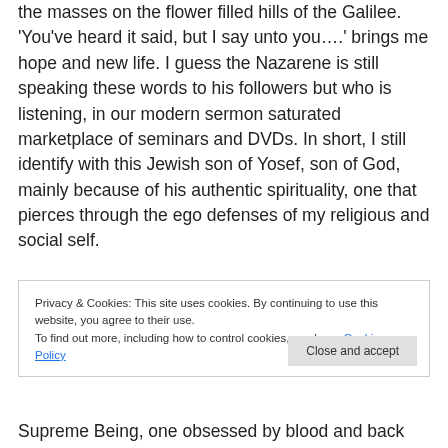the masses on the flower filled hills of the Galilee. 'You've heard it said, but I say unto you….' brings me hope and new life. I guess the Nazarene is still speaking these words to his followers but who is listening, in our modern sermon saturated marketplace of seminars and DVDs. In short, I still identify with this Jewish son of Yosef, son of God, mainly because of his authentic spirituality, one that pierces through the ego defenses of my religious and social self.
Privacy & Cookies: This site uses cookies. By continuing to use this website, you agree to their use. To find out more, including how to control cookies, see here: Cookie Policy
Supreme Being, one obsessed by blood and back